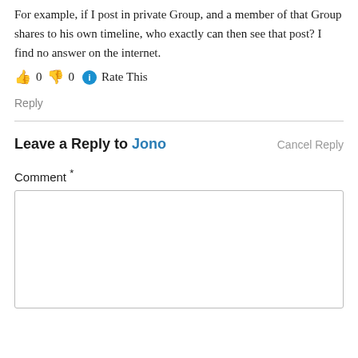For example, if I post in private Group, and a member of that Group shares to his own timeline, who exactly can then see that post? I find no answer on the internet.
👍 0 👎 0 ℹ Rate This
Reply
Leave a Reply to Jono   Cancel Reply
Comment *
[Figure (other): Empty comment text area input box]